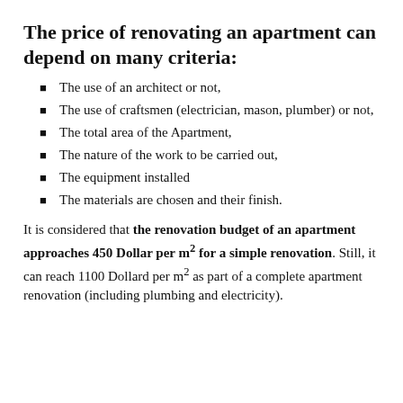The price of renovating an apartment can depend on many criteria:
The use of an architect or not,
The use of craftsmen (electrician, mason, plumber) or not,
The total area of the Apartment,
The nature of the work to be carried out,
The equipment installed
The materials are chosen and their finish.
It is considered that the renovation budget of an apartment approaches 450 Dollar per m² for a simple renovation. Still, it can reach 1100 Dollard per m² as part of a complete apartment renovation (including plumbing and electricity).